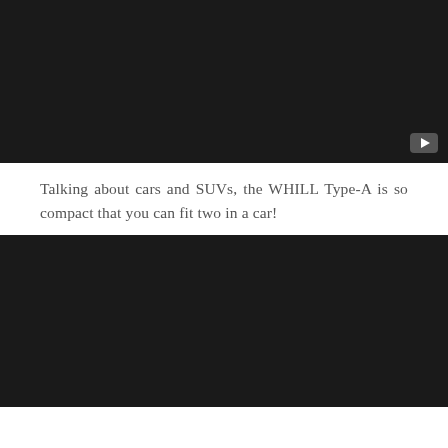[Figure (screenshot): Dark/black video thumbnail with a play button icon in the bottom-right corner]
Talking about cars and SUVs, the WHILL Type-A is so compact that you can fit two in a car!
[Figure (screenshot): Dark/black video thumbnail, partially visible, cut off at bottom of page]